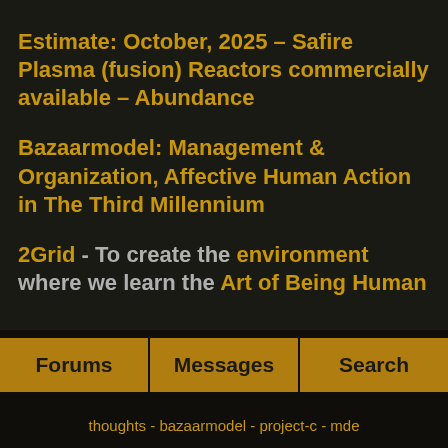Estimate: October, 2025 – Safire Plasma (fusion) Reactors commercially available – Abundance
Bazaarmodel: Management & Organization, Affective Human Action in The Third Millennium
2Grid - To create the environment where we learn the Art of Being Human
Forums   Messages   Search
thoughts - bazaarmodel - project-c - mde